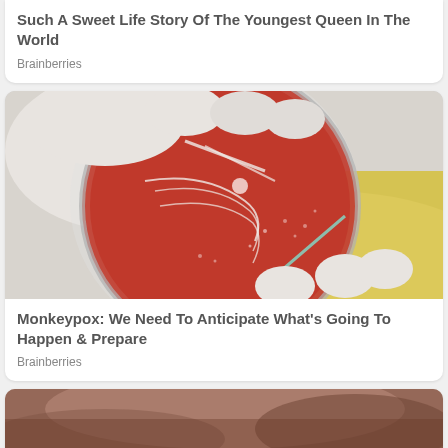Such A Sweet Life Story Of The Youngest Queen In The World
Brainberries
[Figure (photo): Gloved hands holding a red blood agar petri dish with bacterial cultures being streaked with a swab, yellow background visible]
Monkeypox: We Need To Anticipate What's Going To Happen & Prepare
Brainberries
[Figure (photo): Partial view of a person's face or body, brownish tones, cut off at bottom of page]